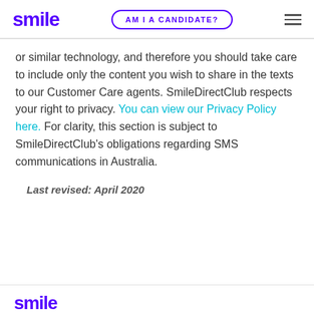smile | AM I A CANDIDATE?
or similar technology, and therefore you should take care to include only the content you wish to share in the texts to our Customer Care agents. SmileDirectClub respects your right to privacy. You can view our Privacy Policy here. For clarity, this section is subject to SmileDirectClub's obligations regarding SMS communications in Australia.
Last revised: April 2020
smile